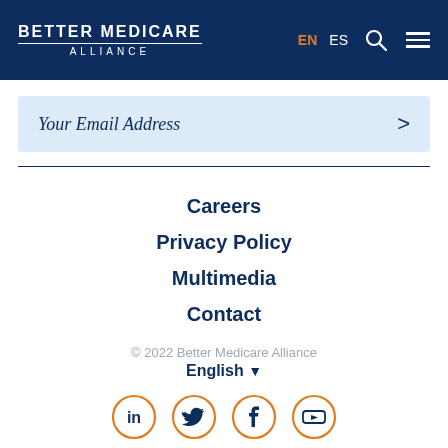BETTER MEDICARE ALLIANCE
Your Email Address
Careers
Privacy Policy
Multimedia
Contact
© 2022 Better Medicare Alliance English
[Figure (infographic): Social media icons for LinkedIn, Twitter, Facebook, and YouTube, each inside an orange circle border]